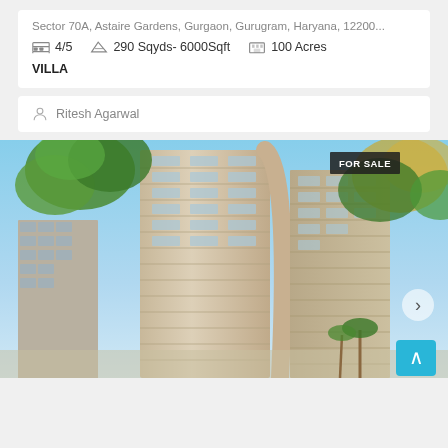Sector 70A, Astaire Gardens, Gurgaon, Gurugram, Haryana, 12200...
4/5   290 Sqyds- 6000Sqft   100 Acres
VILLA
Ritesh Agarwal
[Figure (photo): Exterior photograph of a tall residential apartment building taken from ground level looking up, showing multiple floors with balconies, surrounded by trees with blue sky background. A 'FOR SALE' badge is visible in the top right corner.]